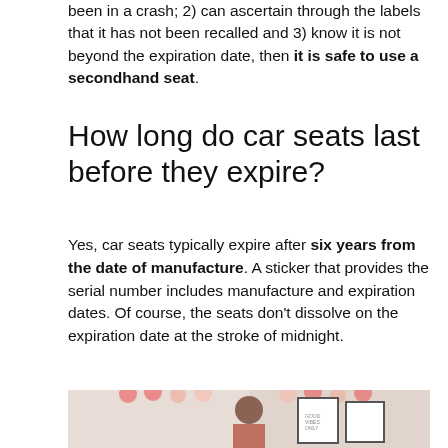been in a crash; 2) can ascertain through the labels that it has not been recalled and 3) know it is not beyond the expiration date, then it is safe to use a secondhand seat.
How long do car seats last before they expire?
Yes, car seats typically expire after six years from the date of manufacture. A sticker that provides the serial number includes manufacture and expiration dates. Of course, the seats don’t dissolve on the expiration date at the stroke of midnight.
[Figure (photo): Photo of a woman standing in a decorated room with pink and white balloon garlands and framed prints on the wall.]